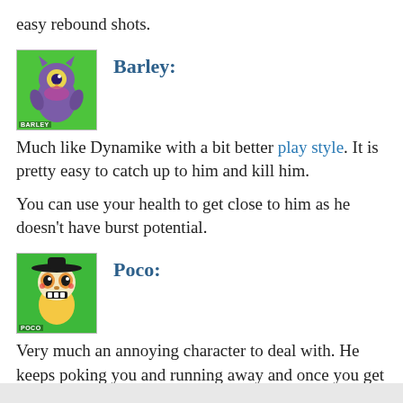easy rebound shots.
[Figure (illustration): Character icon for Barley from Brawl Stars — purple owl-like creature on green background with 'BARLEY' label]
Barley:
Much like Dynamike with a bit better play style. It is pretty easy to catch up to him and kill him.
You can use your health to get close to him as he doesn’t have burst potential.
[Figure (illustration): Character icon for Poco from Brawl Stars — skeleton-like character on green background with 'POCO' label]
Poco:
Very much an annoying character to deal with. He keeps poking you and running away and once you get close enough to him he uses his super and heals himself and then all that poking finally kills you.